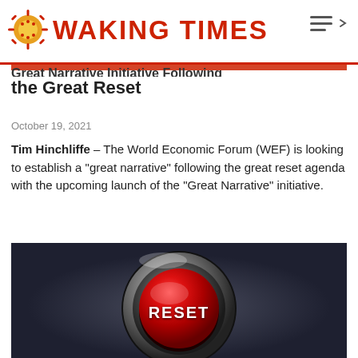WAKING TIMES
Great Narrative Initiative Following the Great Reset
October 19, 2021
Tim Hinchliffe – The World Economic Forum (WEF) is looking to establish a "great narrative" following the great reset agenda with the upcoming launch of the "Great Narrative" initiative.
[Figure (photo): A large red glowing button labeled RESET on a dark metallic surface with chrome ring]